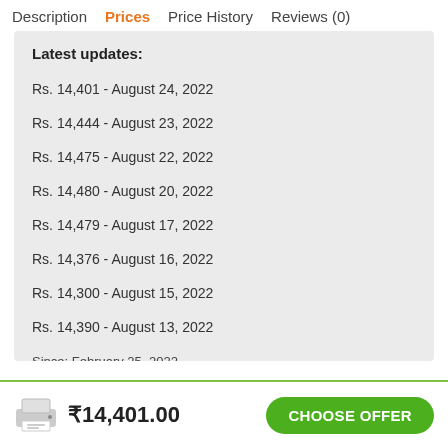Description  Prices  Price History  Reviews (0)
Latest updates:
Rs. 14,401 - August 24, 2022
Rs. 14,444 - August 23, 2022
Rs. 14,475 - August 22, 2022
Rs. 14,480 - August 20, 2022
Rs. 14,479 - August 17, 2022
Rs. 14,376 - August 16, 2022
Rs. 14,300 - August 15, 2022
Rs. 14,390 - August 13, 2022
Since: February 25, 2022
₹14,401.00
CHOOSE OFFER